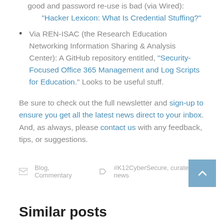Yet another reason why password managers are good and password re-use is bad (via Wired): "Hacker Lexicon: What Is Credential Stuffing?"
Via REN-ISAC (the Research Education Networking Information Sharing & Analysis Center): A GitHub repository entitled, "Security-Focused Office 365 Management and Log Scripts for Education." Looks to be useful stuff.
Be sure to check out the full newsletter and sign-up to ensure you get all the latest news direct to your inbox. And, as always, please contact us with any feedback, tips, or suggestions.
Blog, Commentary   #K12CyberSecure, curated news
Similar posts